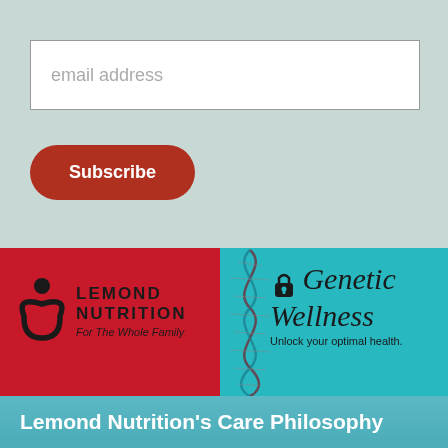email address
Subscribe
[Figure (logo): Lemond Nutrition banner with DNA helix graphic split between red and teal background. Left side red with Lemond Nutrition For The Whole Family logo. Right side teal with padlock icon and Genetic Wellness text, Unlock your optimal health.]
Lemond Nutrition's Care Philosophy